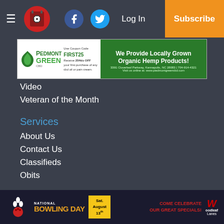≡ [Logo] [Facebook] [Twitter] Log In Subscribe
[Figure (infographic): Piedmont Green CBD advertisement banner: Use Coupon Code FIRST25, Receive 25% OFF your first purchase of any cbd oil or pain cream. We Provide Locally Grown Organic Hemp Products! 3391 Cloverleaf Parkway, Kannapolis, NC 28083 | 704-914-4321 Visit us online at: www.piedmontgreencbd.com]
Video
Veteran of the Month
Services
About Us
Contact Us
Classifieds
Obits
Copyright
© 2022, Salisbury Post
[Figure (infographic): National Bowling Day advertisement: Come Celebrate Our Great Specials! Sat. August 13th, Woodleaf Lanes logo]